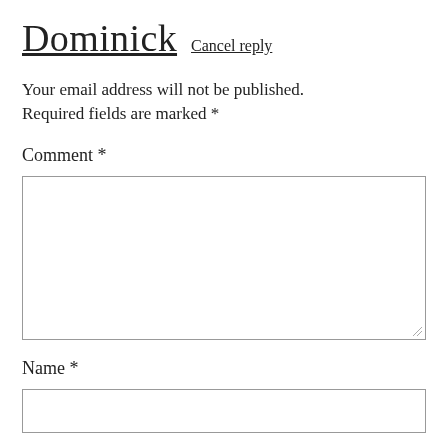Dominick  Cancel reply
Your email address will not be published. Required fields are marked *
Comment *
[Figure (other): Empty comment textarea input box]
Name *
[Figure (other): Empty name text input box]